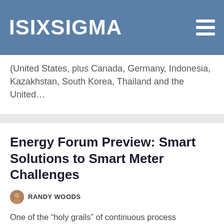ISIXSIGMA
(United States, plus Canada, Germany, Indonesia, Kazakhstan, South Korea, Thailand and the United…
Energy Forum Preview: Smart Solutions to Smart Meter Challenges
RANDY WOODS
One of the “holy grails” of continuous process improvement is the reliable collection and analysis of real-time data. At Southern California Edison (SCE), one of the largest utilities in the United States, this